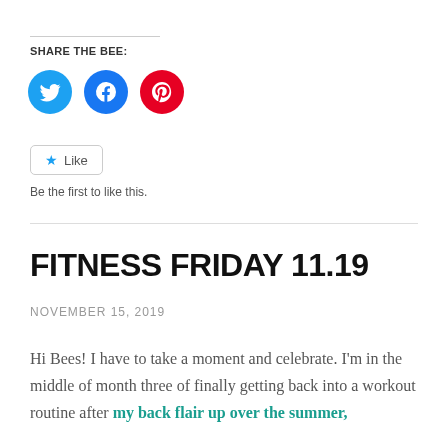SHARE THE BEE:
[Figure (illustration): Three circular social media share buttons: Twitter (teal/blue), Facebook (blue), Pinterest (red)]
[Figure (illustration): Like button with star icon and text 'Be the first to like this.']
FITNESS FRIDAY 11.19
NOVEMBER 15, 2019
Hi Bees! I have to take a moment and celebrate. I'm in the middle of month three of finally getting back into a workout routine after my back flair up over the summer,